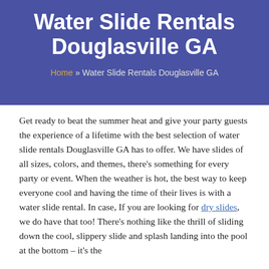Water Slide Rentals Douglasville GA
Home » Water Slide Rentals Douglasville GA
Get ready to beat the summer heat and give your party guests the experience of a lifetime with the best selection of water slide rentals Douglasville GA has to offer. We have slides of all sizes, colors, and themes, there's something for every party or event. When the weather is hot, the best way to keep everyone cool and having the time of their lives is with a water slide rental. In case, If you are looking for dry slides, we do have that too! There's nothing like the thrill of sliding down the cool, slippery slide and splash landing into the pool at the bottom – it's the